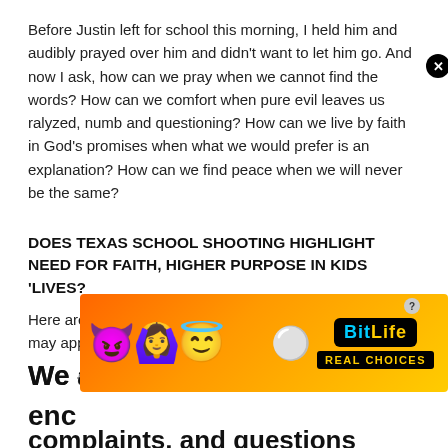Before Justin left for school this morning, I held him and audibly prayed over him and didn't want to let him go. And now I ask, how can we pray when we cannot find the words? How can we comfort when pure evil leaves us ralyzed, numb and questioning? How can we live by faith in God's promises when what we would prefer is an explanation? How can we find peace when we will never be the same?
DOES TEXAS SCHOOL SHOOTING HIGHLIGHT NEED FOR FAITH, HIGHER PURPOSE IN KIDS 'LIVES?
Here are three immediate steps forward, wobbly as they may appear at first.
We all pray too religiously. God is helping enc... complaints, and questions
[Figure (screenshot): BitLife advertisement banner with emoji characters (devil, person, angel, sperm) on an orange gradient background, with BitLife logo and 'REAL CHOICES' tagline in black box]